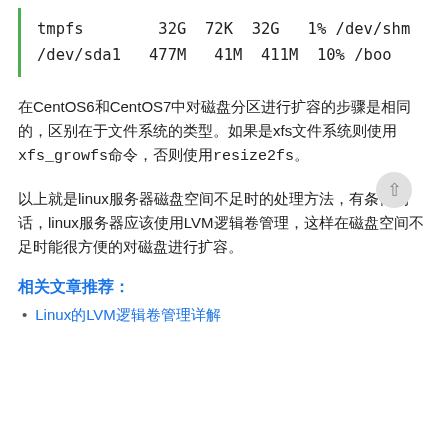| tmpfs | 32G | 72K | 32G | 1% | /dev/shm |
| /dev/sda1 | 477M | 41M | 411M | 10% | /boo |
在CentOS6和CentOS7中对磁盘分区进行扩容的步骤是相同的，区别在于文件系统的类型。如果是xfs文件系统则使用xfs_growfs命令，否则使用resize2fs。
以上就是linux服务器磁盘空间不足时的处理方法，有条件的话，linux服务器应该使用LVM逻辑卷管理，这样在磁盘空间不足时能很方便的对磁盘进行扩容。
相关文章推荐：
Linux的LVM逻辑卷管理详解